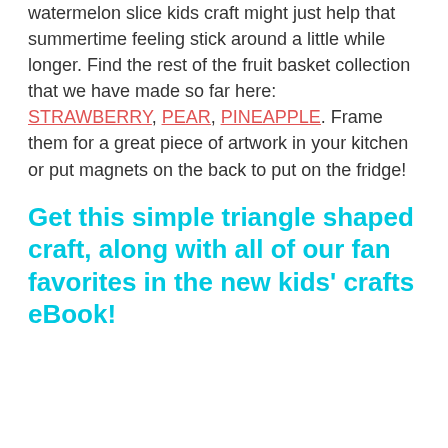watermelon slice kids craft might just help that summertime feeling stick around a little while longer. Find the rest of the fruit basket collection that we have made so far here: STRAWBERRY, PEAR, PINEAPPLE. Frame them for a great piece of artwork in your kitchen or put magnets on the back to put on the fridge!
Get this simple triangle shaped craft, along with all of our fan favorites in the new kids' crafts eBook!